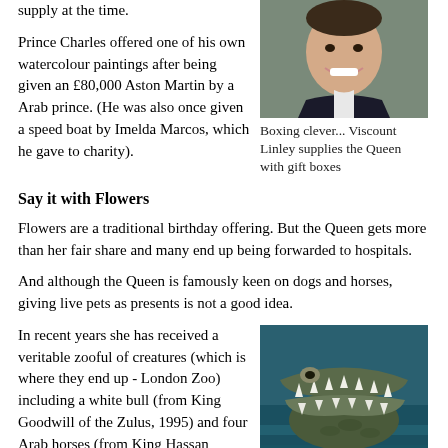supply at the time.
Prince Charles offered one of his own watercolour paintings after being given an £80,000 Aston Martin by a Arab prince. (He was also once given a speed boat by Imelda Marcos, which he gave to charity).
[Figure (photo): Photo of a smiling man in a dark suit — Viscount Linley]
Boxing clever... Viscount Linley supplies the Queen with gift boxes
Say it with Flowers
Flowers are a traditional birthday offering. But the Queen gets more than her fair share and many end up being forwarded to hospitals.
And although the Queen is famously keen on dogs and horses, giving live pets as presents is not a good idea.
In recent years she has received a veritable zooful of creatures (which is where they end up - London Zoo) including a white bull (from King Goodwill of the Zulus, 1995) and four Arab horses (from King Hassan
[Figure (photo): Photo of a crocodile with open mouth, shot from below showing teeth, against a blue water background]